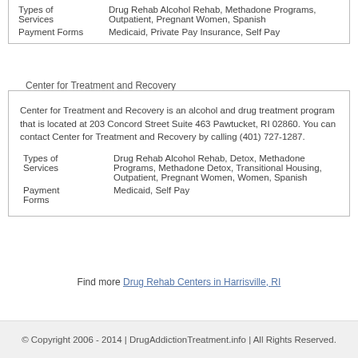|  |  |
| --- | --- |
| Types of Services | Drug Rehab Alcohol Rehab, Methadone Programs, Outpatient, Pregnant Women, Spanish |
| Payment Forms | Medicaid, Private Pay Insurance, Self Pay |
Center for Treatment and Recovery
Center for Treatment and Recovery is an alcohol and drug treatment program that is located at 203 Concord Street Suite 463 Pawtucket, RI 02860. You can contact Center for Treatment and Recovery by calling (401) 727-1287.
|  |  |
| --- | --- |
| Types of Services | Drug Rehab Alcohol Rehab, Detox, Methadone Programs, Methadone Detox, Transitional Housing, Outpatient, Pregnant Women, Women, Spanish |
| Payment Forms | Medicaid, Self Pay |
Find more Drug Rehab Centers in Harrisville, RI
© Copyright 2006 - 2014 | DrugAddictionTreatment.info | All Rights Reserved.